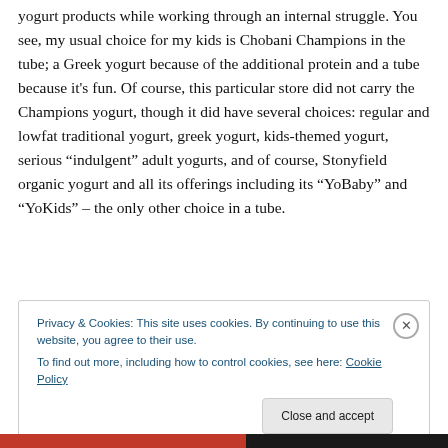yogurt products while working through an internal struggle. You see, my usual choice for my kids is Chobani Champions in the tube; a Greek yogurt because of the additional protein and a tube because it's fun. Of course, this particular store did not carry the Champions yogurt, though it did have several choices: regular and lowfat traditional yogurt, greek yogurt, kids-themed yogurt, serious “indulgent” adult yogurts, and of course, Stonyfield organic yogurt and all its offerings including its “YoBaby” and “YoKids” – the only other choice in a tube.
Privacy & Cookies: This site uses cookies. By continuing to use this website, you agree to their use.
To find out more, including how to control cookies, see here: Cookie Policy